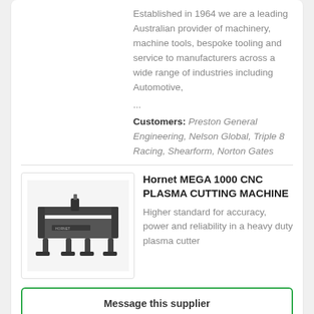Established in 1964 we are a leading Australian provider of machinery, machine tools, bespoke tooling and service to manufacturers across a wide range of industries including Automotive, ...
Customers: Preston General Engineering, Nelson Global, Triple 8 Racing, Shearform, Norton Gates
[Figure (photo): Photo of Hornet MEGA 1000 CNC Plasma Cutting Machine, a dark grey industrial machine on legs]
Hornet MEGA 1000 CNC PLASMA CUTTING MACHINE
Higher standard for accuracy, power and reliability in a heavy duty plasma cutter
Message this supplier
Let us get you 3+ quotes
So getting you connected with confident...